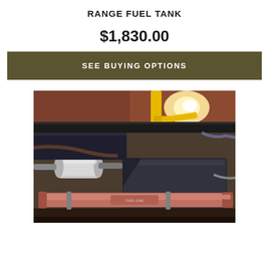RANGE FUEL TANK
$1,830.00
SEE BUYING OPTIONS
[Figure (photo): Photograph of a vehicle undercarriage showing a fuel tank (large dark rectangular component), fuel filters/cylinders, hoses, and related hardware installed in an engine bay or frame area.]